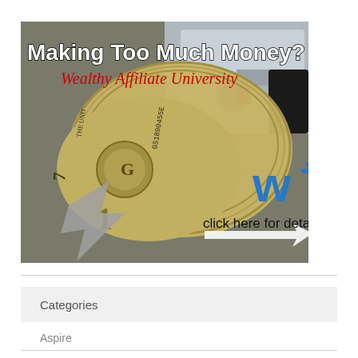[Figure (illustration): Advertisement image showing a roll of US dollar bills on a toilet paper holder with text 'Making Too Much Money?' in bold white/black at top, 'Wealthy Affiliate University' in red italic below, a blue 'WA' logo in the lower right area, and 'click here for details' with an arrow pointing right at the bottom.]
Categories
Aspire
Build a Website